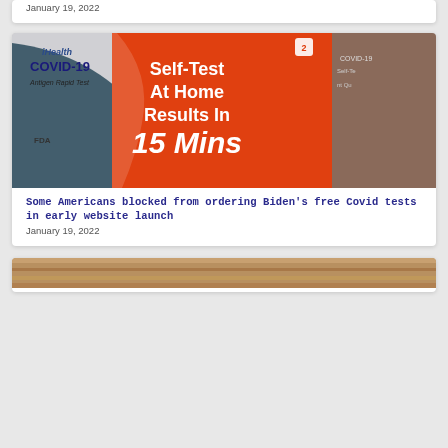January 19, 2022
[Figure (photo): iHealth COVID-19 Antigen Rapid Test boxes showing 'Self-Test At Home Results In 15 Mins' text on orange packaging]
Some Americans blocked from ordering Biden's free Covid tests in early website launch
January 19, 2022
[Figure (photo): Partially visible image at bottom of page]